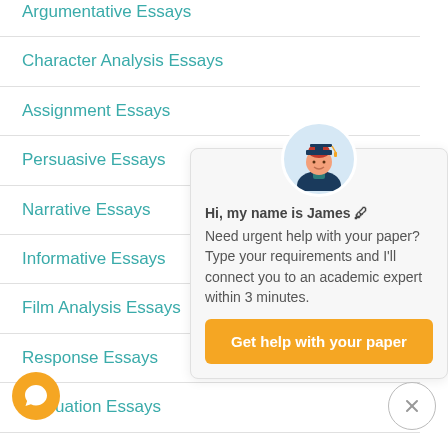Argumentative Essays
Character Analysis Essays
Assignment Essays
Persuasive Essays
Narrative Essays
Informative Essays
Film Analysis Essays
Response Essays
Evaluation Essays
Book Analysis Essays
[Figure (illustration): Chat popup with student avatar in graduation cap, name 'Hi, my name is James' with typing indicator, message about urgent help with paper, and orange 'Get help with your paper' button]
[Figure (illustration): Orange circular chat bubble icon at bottom left]
[Figure (illustration): Close (X) circle button at bottom right]